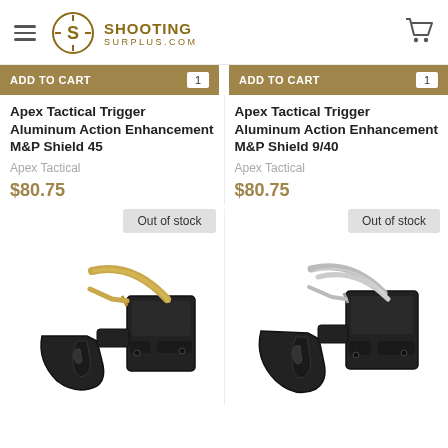Shooting Surplus .com
[Figure (screenshot): Tan/brown add to cart bar with quantity selector for left product]
[Figure (screenshot): Tan/brown add to cart bar with quantity selector for right product]
Apex Tactical Trigger Aluminum Action Enhancement M&P Shield 45
Apex Tactical Trigger Aluminum Action Enhancement M&P Shield 9/40
Apex Tactical
Apex Tactical
$80.75
$80.75
Out of stock
Out of stock
[Figure (photo): Apex Tactical trigger with tan/gold colored bar and black trigger assembly, isolated on white background]
[Figure (photo): Apex Tactical trigger with silver/grey colored bar and black trigger assembly, isolated on white background]